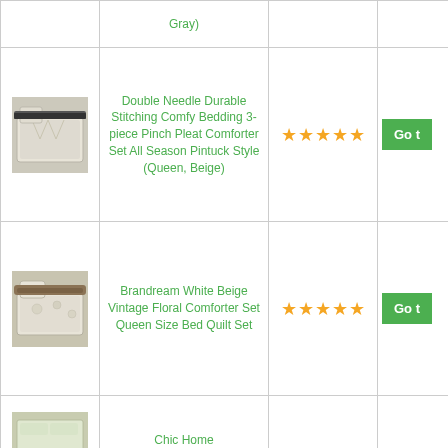| Image | Product Name | Rating | Action |
| --- | --- | --- | --- |
| [image] | Gray) |  | Go t... |
| [comforter image] | Double Needle Durable Stitching Comfy Bedding 3-piece Pinch Pleat Comforter Set All Season Pintuck Style (Queen, Beige) | ★★★★★ | Go t... |
| [comforter image] | Brandream White Beige Vintage Floral Comforter Set Queen Size Bed Quilt Set | ★★★★★ | Go t... |
| [image] | Chic Home |  |  |